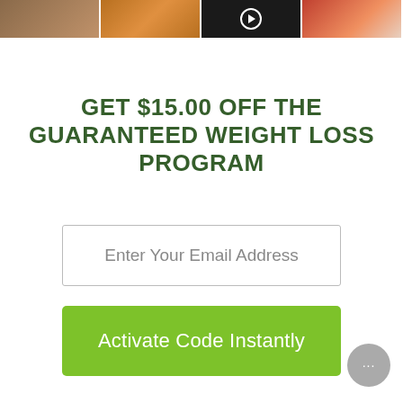[Figure (screenshot): Top banner strip with four thumbnail images: a brown/wood texture, two orange product containers, a dark image with a play button overlay, and a red/food image on white background.]
GET $15.00 OFF THE GUARANTEED WEIGHT LOSS PROGRAM
Enter Your Email Address
Activate Code Instantly
[Figure (other): Gray circular chat button with ellipsis (···) in bottom right corner]